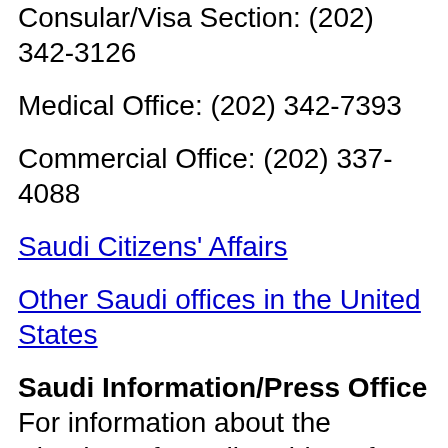Consular/Visa Section: (202) 342-3126
Medical Office: (202) 342-7393
Commercial Office: (202) 337-4088
Saudi Citizens' Affairs
Other Saudi offices in the United States
Saudi Information/Press Office
For information about the Kingdom of Saudi Arabia or for press matters, please contact: